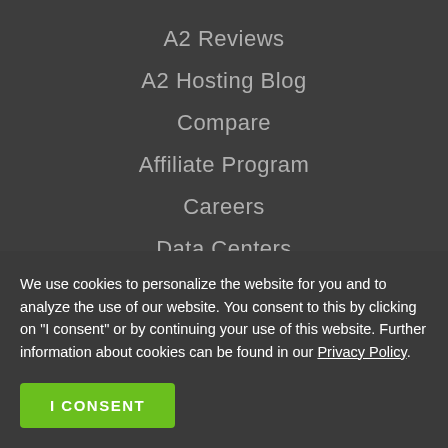A2 Reviews
A2 Hosting Blog
Compare
Affiliate Program
Careers
Data Centers
[Figure (screenshot): Partial logo strip with red/white and blue/white brand logos visible at the bottom edge of the navigation area]
We use cookies to personalize the website for you and to analyze the use of our website. You consent to this by clicking on "I consent" or by continuing your use of this website. Further information about cookies can be found in our Privacy Policy.
I CONSENT